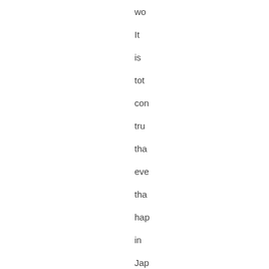wo
It
is
tot
con
tru
tha
eve
tha
hap
in
Jap
wil
be
con
in
the